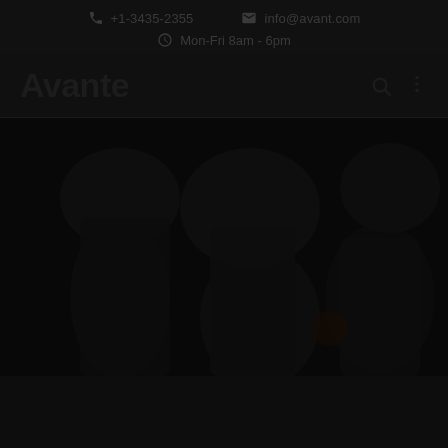+1-3435-2355  info@avant.com  Mon-Fri 8am - 6pm
Avante
[Figure (photo): Dark background hero image showing silhouettes or shadowed figures, very low contrast against near-black background]